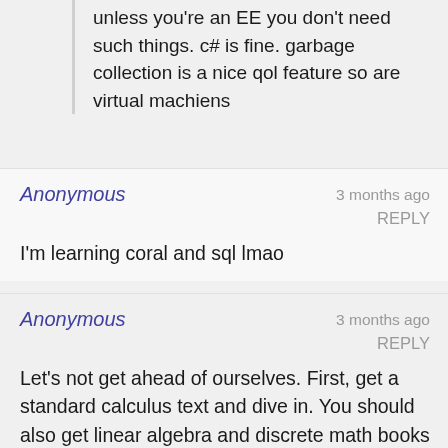unless you're an EE you don't need such things. c# is fine. garbage collection is a nice qol feature so are virtual machiens
Anonymous
3 months ago
REPLY
I'm learning coral and sql lmao
Anonymous
3 months ago
REPLY
Let's not get ahead of ourselves. First, get a standard calculus text and dive in. You should also get linear algebra and discrete math books as well; make sure the discrete